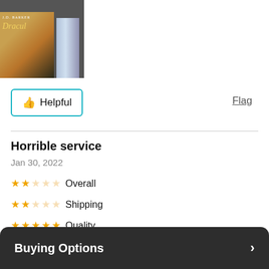[Figure (photo): Photo of two books including 'Dracul' by J.D. Barker and another book]
Helpful
Flag
Horrible service
Jan 30, 2022
★★☆☆☆ Overall
★★☆☆☆ Shipping
★★★★★ Quality
★★☆☆☆ Curation
Brittany B
Buying Options